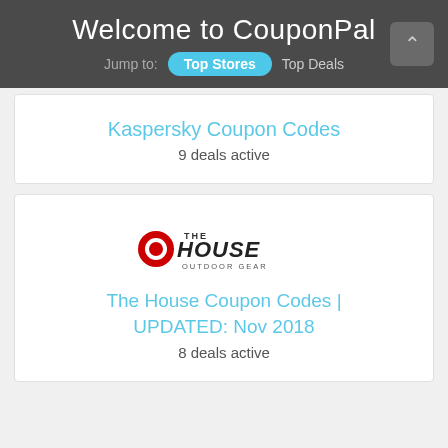Welcome to CouponPal — Jump to: Top Stores | Top Deals
Kaspersky Coupon Codes
9 deals active
[Figure (logo): The House Outdoor Gear logo — stylized text 'The House Outdoor Gear' with a red circular emblem]
The House Coupon Codes | UPDATED: Nov 2018
8 deals active